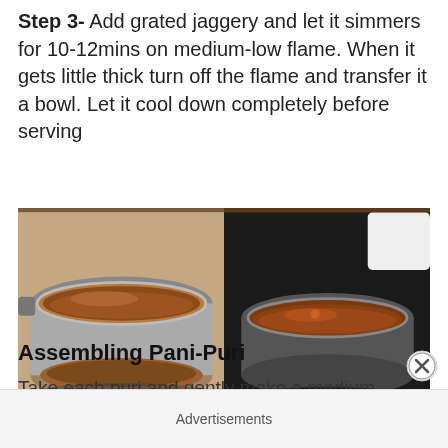Step 3- Add grated jaggery and let it simmers for 10-12mins on medium-low flame. When it gets little thick turn off the flame and transfer it a bowl. Let it cool down completely before serving
[Figure (photo): Two side-by-side photos: left shows a steel saucepan with brown tamarind/jaggery mixture on a stove; right shows the same mixture transferred into a steel bowl on a dark surface.]
Assembling Pani-Puri
Take each puri and gently make a medium hole in them
Advertisements